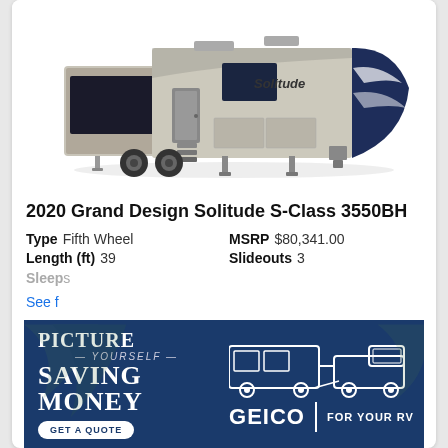[Figure (photo): Side view of a large fifth-wheel RV trailer branded 'Solitude' with multiple slide-outs extended, beige and navy color scheme]
2020 Grand Design Solitude S-Class 3550BH
Type  Fifth Wheel    MSRP  $80,341.00
Length (ft)  39    Slideouts  3
Sleeps [partially obscured by ad]
See f[ull details — partially obscured]
[Figure (advertisement): GEICO insurance advertisement with dark blue background. Left side reads 'PICTURE YOURSELF SAVING MONEY' with a 'GET A QUOTE' button. Right side shows an illustration of a truck towing an RV with 'GEICO | FOR YOUR RV' text.]